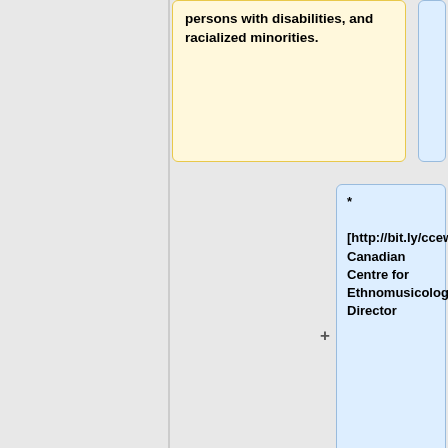persons with disabilities, and racialized minorities.
* [http://bit.ly/ccewiki Canadian Centre for Ethnomusicology], Director
* [https://uofa.ualberta.ca/interdisciplinary-studies/religious-studies Religious Studies], Adjunct Professor
*